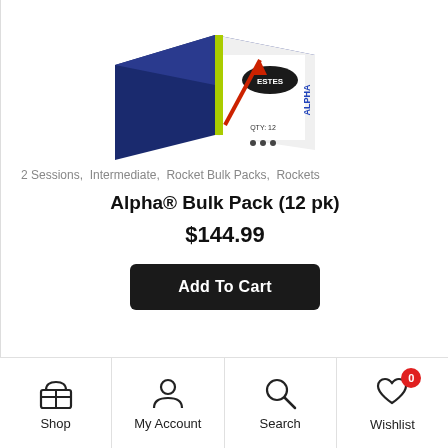[Figure (photo): Estes Alpha model rocket bulk pack box (12 pk), partially cropped at top of page]
2 Sessions, Intermediate, Rocket Bulk Packs, Rockets
Alpha® Bulk Pack (12 pk)
$144.99
Add To Cart
[Figure (photo): Top of next product image showing green rocket nose cone]
Shop   My Account   Search   Wishlist